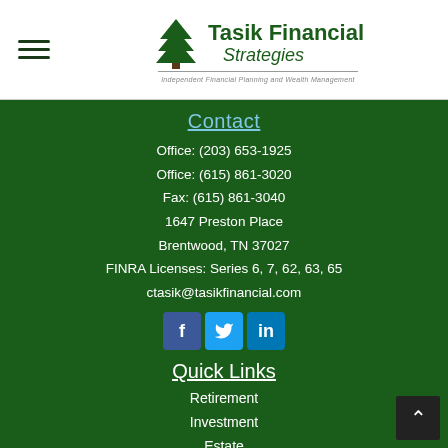[Figure (logo): Tasik Financial Strategies logo with tree icon and tagline 'Independent Financial Planning and Wealth Management']
Contact
Office: (203) 653-1925
Office: (615) 861-3020
Fax: (615) 861-3040
1647 Preston Place
Brentwood, TN 37027
FINRA Licenses: Series 6, 7, 62, 63, 65
ctasik@tasikfinancial.com
[Figure (infographic): Social media icons: Facebook, Twitter, LinkedIn]
Quick Links
Retirement
Investment
Estate
Insurance
Tax
Money
Lifestyle